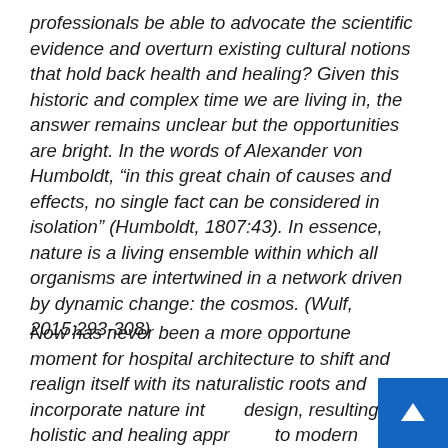professionals be able to advocate the scientific evidence and overturn existing cultural notions that hold back health and healing? Given this historic and complex time we are living in, the answer remains unclear but the opportunities are bright. In the words of Alexander von Humboldt, “in this great chain of causes and effects, no single fact can be considered in isolation” (Humboldt, 1807:43). In essence, nature is a living ensemble within which all organisms are intertwined in a network driven by dynamic change: the cosmos. (Wulf, 2015:293-308)
Now has never been a more opportune moment for hospital architecture to shift and realign itself with its naturalistic roots and incorporate nature into its design, resulting in a holistic and healing approach to modern healthcare.